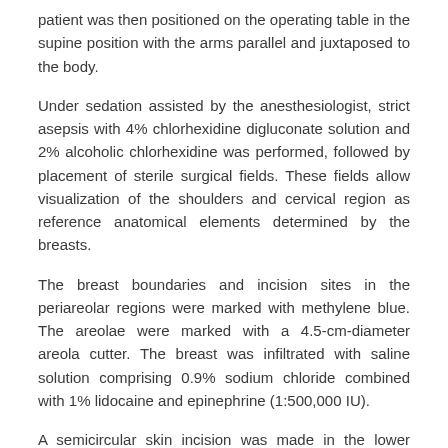patient was then positioned on the operating table in the supine position with the arms parallel and juxtaposed to the body.
Under sedation assisted by the anesthesiologist, strict asepsis with 4% chlorhexidine digluconate solution and 2% alcoholic chlorhexidine was performed, followed by placement of sterile surgical fields. These fields allow visualization of the shoulders and cervical region as reference anatomical elements determined by the breasts.
The breast boundaries and incision sites in the periareolar regions were marked with methylene blue. The areolae were marked with a 4.5-cm-diameter areola cutter. The breast was infiltrated with saline solution comprising 0.9% sodium chloride combined with 1% lidocaine and epinephrine (1:500,000 IU).
A semicircular skin incision was made in the lower portion of the areola, and access to the mammary pocket was accomplished through the